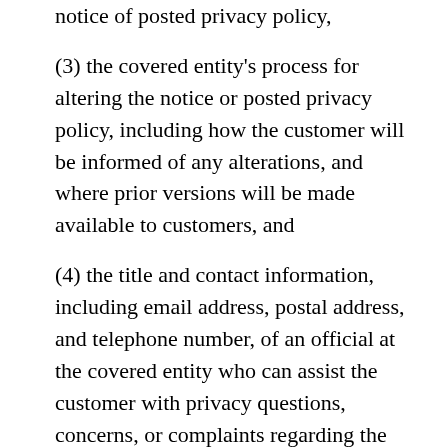notice of posted privacy policy,
(3) the covered entity's process for altering the notice or posted privacy policy, including how the customer will be informed of any alterations, and where prior versions will be made available to customers, and
(4) the title and contact information, including email address, postal address, and telephone number, of an official at the covered entity who can assist the customer with privacy questions, concerns, or complaints regarding the collection, storage, use, or distribution of covered information.
5.3  What Rule Best